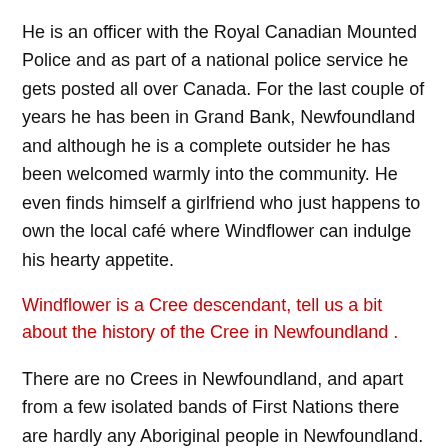He is an officer with the Royal Canadian Mounted Police and as part of a national police service he gets posted all over Canada. For the last couple of years he has been in Grand Bank, Newfoundland and although he is a complete outsider he has been welcomed warmly into the community. He even finds himself a girlfriend who just happens to own the local café where Windflower can indulge his hearty appetite.
Windflower is a Cree descendant, tell us a bit about the history of the Cree in Newfoundland .
There are no Crees in Newfoundland, and apart from a few isolated bands of First Nations there are hardly any Aboriginal people in Newfoundland. There was a major First Nation called the Beothuks who were there when the first Europeans arrived, but they were driven off the land